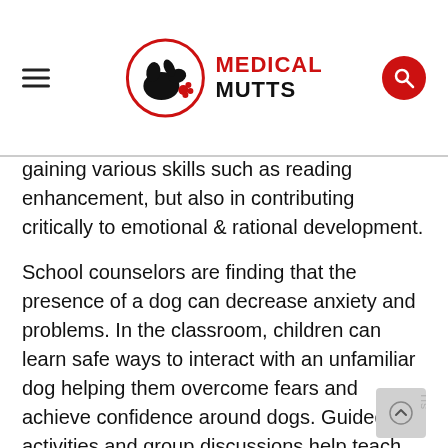MEDICAL MUTTS
gaining various skills such as reading enhancement, but also in contributing critically to emotional & rational development.
School counselors are finding that the presence of a dog can decrease anxiety and problems. In the classroom, children can learn safe ways to interact with an unfamiliar dog helping them overcome fears and achieve confidence around dogs. Guided activities and group discussions help teach students how to handle interpersonal conflicts and develop constructive responses.
The benefits of a dog program in the school have been well documented through research. A furry